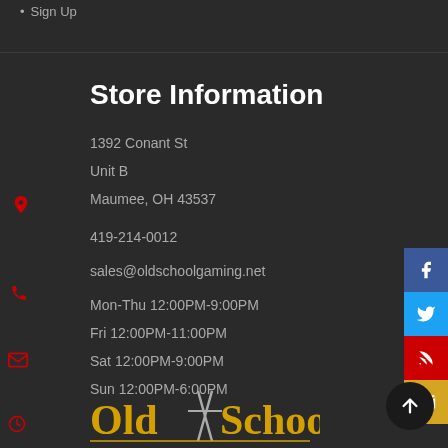Sign Up
Store Information
1392 Conant St
Unit B
Maumee, OH 43537
419-214-0012
sales@oldschoolgaming.net
Mon-Thu 12:00PM-9:00PM
Fri 12:00PM-11:00PM
Sat 12:00PM-9:00PM
Sun 12:00PM-6:00PM
[Figure (logo): Old School Gaming logo with crossed swords]
[Figure (infographic): Social media buttons: Facebook, Twitter, RSS, Email]